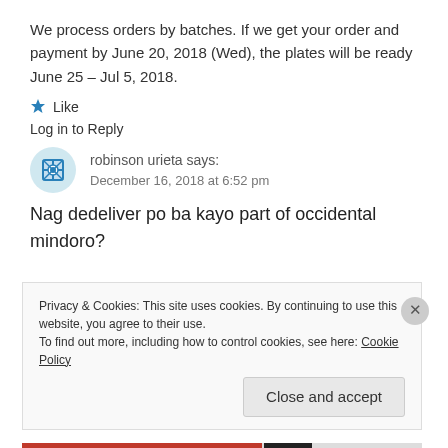We process orders by batches. If we get your order and payment by June 20, 2018 (Wed), the plates will be ready June 25 – Jul 5, 2018.
★ Like
Log in to Reply
robinson urieta says:
December 16, 2018 at 6:52 pm
Nag dedeliver po ba kayo part of occidental mindoro?
Privacy & Cookies: This site uses cookies. By continuing to use this website, you agree to their use.
To find out more, including how to control cookies, see here: Cookie Policy
Close and accept